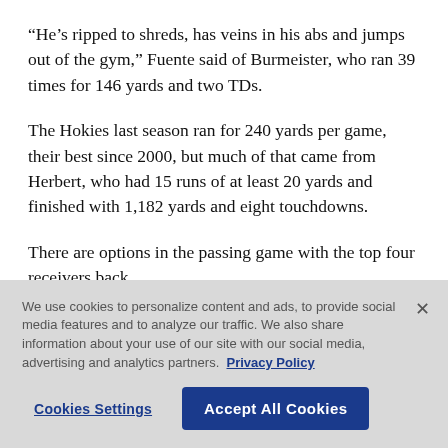“He’s ripped to shreds, has veins in his abs and jumps out of the gym,” Fuente said of Burmeister, who ran 39 times for 146 yards and two TDs.
The Hokies last season ran for 240 yards per game, their best since 2000, but much of that came from Herbert, who had 15 runs of at least 20 yards and finished with 1,182 yards and eight touchdowns.
There are options in the passing game with the top four receivers back.
We use cookies to personalize content and ads, to provide social media features and to analyze our traffic. We also share information about your use of our site with our social media, advertising and analytics partners. Privacy Policy
Cookies Settings | Accept All Cookies